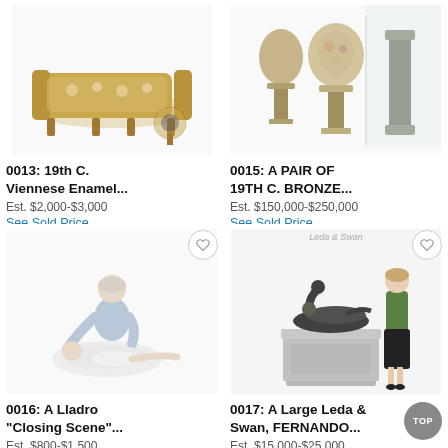[Figure (photo): Antique 19th century Viennese enamel furniture piece with small side table, gold tones]
0013: 19th C. Viennese Enamel...
Est. $2,000-$3,000
See Sold Price
[Figure (photo): A pair of 19th century bronze vases/urns on pedestals, ornate decoration]
0015: A PAIR OF 19TH C. BRONZE...
Est. $150,000-$250,000
See Sold Price
[Figure (photo): Lladro porcelain figurine of a ballet closing scene with two dancers]
0016: A Lladro "Closing Scene"...
Est. $800-$1,500
[Figure (photo): Large Leda and Swan bronze sculpture on pedestal by Fernando, with woman in green jacket for scale]
0017: A Large Leda & Swan, FERNANDO...
Est. $15,000-$25,000